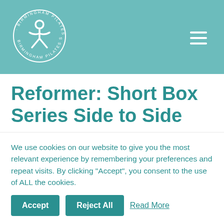[Figure (logo): Birmingham Pilates Studios circular logo with a person figure icon in white on teal background, text around the circle reads BIRMINGHAM PILATES STUDIOS]
Reformer: Short Box Series Side to Side
Miguel Bengoa   April 20, 2021
We use cookies on our website to give you the most relevant experience by remembering your preferences and repeat visits. By clicking “Accept”, you consent to the use of ALL the cookies.
Accept   Reject All   Read More